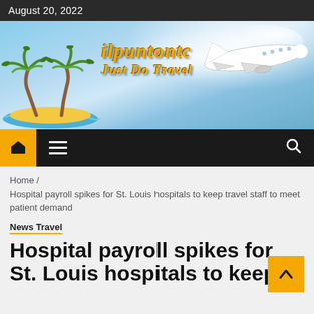August 20, 2022
[Figure (logo): ilpuntontc Just Do Travel logo with palm trees, island, ocean waves, and airplane on blue sky background]
[Figure (screenshot): Navigation bar with home icon (yellow background), hamburger menu icon, and search icon on dark background]
Home / Hospital payroll spikes for St. Louis hospitals to keep travel staff to meet patient demand
News Travel
Hospital payroll spikes for St. Louis hospitals to keep